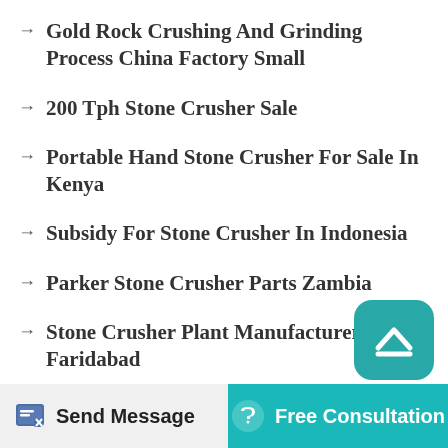Gold Rock Crushing And Grinding Process China Factory Small
200 Tph Stone Crusher Sale
Portable Hand Stone Crusher For Sale In Kenya
Subsidy For Stone Crusher In Indonesia
Parker Stone Crusher Parts Zambia
Stone Crusher Plant Manufacturer In Faridabad
Stone Crusher Machines Companies In China
[Figure (other): Teal rounded square button with upward-pointing chevron/caret icon for scrolling to top of page]
Send Message | Free Consultation